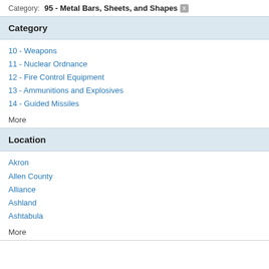Category: 95 - Metal Bars, Sheets, and Shapes ×
Category
10 - Weapons
11 - Nuclear Ordnance
12 - Fire Control Equipment
13 - Ammunitions and Explosives
14 - Guided Missiles
More
Location
Akron
Allen County
Alliance
Ashland
Ashtabula
More